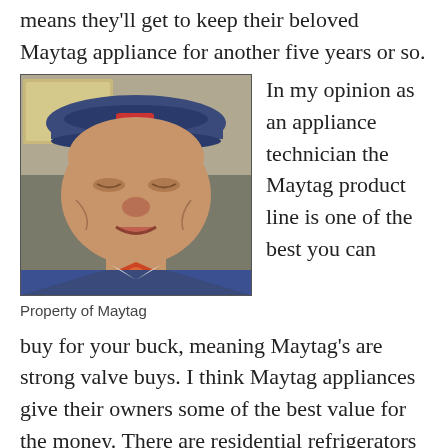means they'll get to keep their beloved Maytag appliance for another five years or so.
[Figure (photo): An elderly man in a blue uniform cap and blue jacket with an orange bow tie, resembling the Maytag repairman character from advertisements.]
In my opinion as an appliance technician the Maytag product line is one of the best you can
Property of Maytag
buy for your buck, meaning Maytag's are strong valve buys. I think Maytag appliances give their owners some of the best value for the money. There are residential refrigerators on the market that can cost as much as $15,000. Some of the high-end appliances can be very well built with good engineering concepts and tons